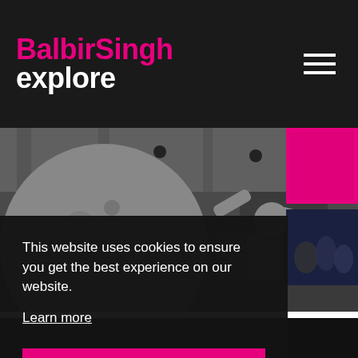BalbirSingh explore
[Figure (photo): Black and white photo of a large moon-like sphere on the left and a male dancer with arms raised to his head on the right, in an industrial space with high ceilings.]
[Figure (photo): Small magenta/pink thumbnail image on the right side.]
[Figure (photo): Small dark blue thumbnail image showing audience or performers.]
This website uses cookies to ensure you get the best experience on our website.
Learn more
Got it!